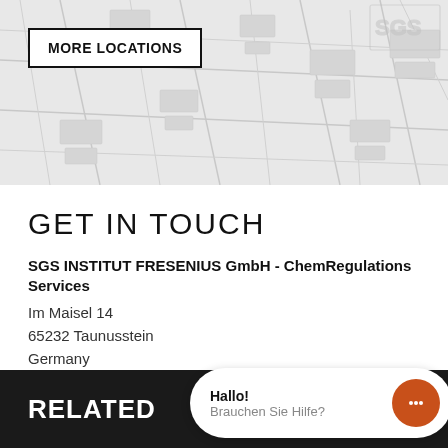[Figure (map): Background map graphic with road/city outlines in light grey]
MORE LOCATIONS
GET IN TOUCH
SGS INSTITUT FRESENIUS GmbH - ChemRegulations Services
Im Maisel 14
65232 Taunusstein
Germany
T  +49 (0)6128 744 353
F  +49 (0)6128 744 213
RELATED
Hallo!
Brauchen Sie Hilfe?